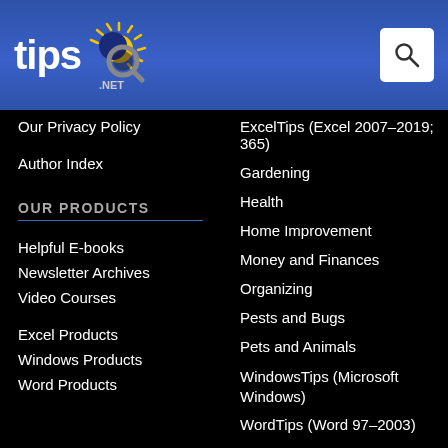tips.NET
Our Privacy Policy
Author Index
OUR PRODUCTS
Helpful E-books
Newsletter Archives
Video Courses
Excel Products
Windows Products
Word Products
ExcelTips (Excel 2007–2019; 365)
Gardening
Health
Home Improvement
Money and Finances
Organizing
Pests and Bugs
Pets and Animals
WindowsTips (Microsoft Windows)
WordTips (Word 97–2003)
WordTips (Word 2007–2019; 365)